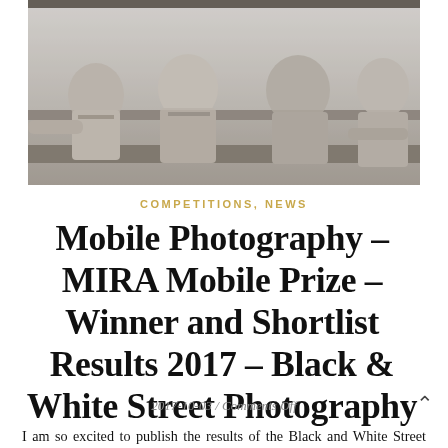[Figure (photo): Black and white photograph of people (children and adults) looking out from a train window]
COMPETITIONS, NEWS
Mobile Photography – MIRA Mobile Prize – Winner and Shortlist Results 2017 – Black & White Street Photography
2017-10-03 / Comments Off
I am so excited to publish the results of the Black and White Street Photography MIRA Mobile Prize competition!